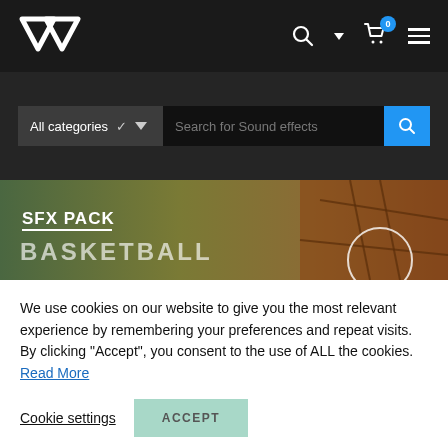[Figure (logo): GAV logo in white on dark navbar background]
[Figure (screenshot): Search bar with All categories dropdown and Search for Sound effects input with blue search button]
[Figure (photo): SFX PACK BASKETBALL banner with green-to-brown gradient background and basketball image on the right]
We use cookies on our website to give you the most relevant experience by remembering your preferences and repeat visits. By clicking “Accept”, you consent to the use of ALL the cookies. Read More
Cookie settings
ACCEPT